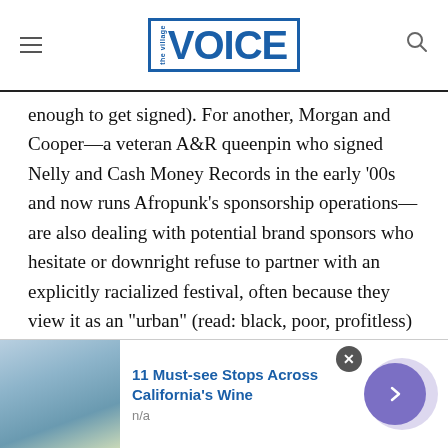The Village Voice
enough to get signed). For another, Morgan and Cooper—a veteran A&R queenpin who signed Nelly and Cash Money Records in the early '00s and now runs Afropunk's sponsorship operations—are also dealing with potential brand sponsors who hesitate or downright refuse to partner with an explicitly racialized festival, often because they view it as an “urban” (read: black, poor, profitless) demographic.

While those factors might have slowed the
[Figure (screenshot): Advertisement banner: '11 Must-see Stops Across California's Wine' with image of woman and navigation arrow button]